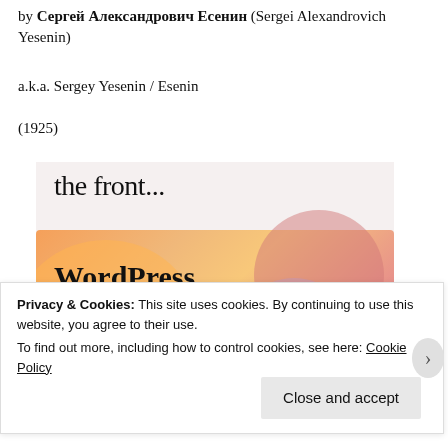by Сергей Александрович Есенин (Sergei Alexandrovich Yesenin)
a.k.a. Sergey Yesenin / Esenin
(1925)
[Figure (screenshot): WordPress promotional banner showing 'the front...' text on a light background and 'WordPress in the back.' text on an orange gradient background with decorative circles]
Privacy & Cookies: This site uses cookies. By continuing to use this website, you agree to their use.
To find out more, including how to control cookies, see here: Cookie Policy
Close and accept